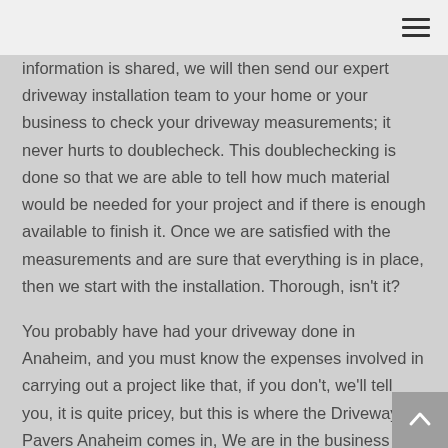information is shared, we will then send our expert driveway installation team to your home or your business to check your driveway measurements; it never hurts to doublecheck. This doublechecking is done so that we are able to tell how much material would be needed for your project and if there is enough available to finish it. Once we are satisfied with the measurements and are sure that everything is in place, then we start with the installation. Thorough, isn't it?
You probably have had your driveway done in Anaheim, and you must know the expenses involved in carrying out a project like that, if you don't, we'll tell you, it is quite pricey, but this is where the Driveway Pavers Anaheim comes in, We are in the business to ensure that the prices are quoted by other driveway paving services in Anaheim are less